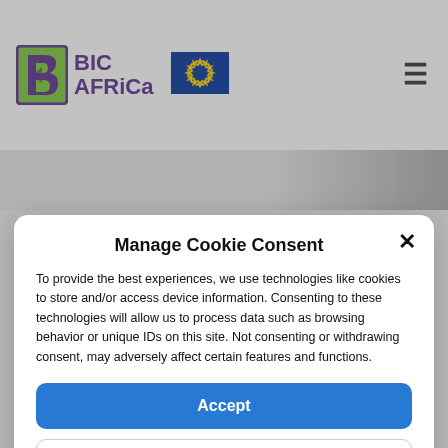[Figure (logo): BIC Africa logo with a stylized B icon in green/purple, text BIC AFRICA in purple, and the EU flag logo next to it. Hamburger menu icon on the right.]
Manage Cookie Consent
To provide the best experiences, we use technologies like cookies to store and/or access device information. Consenting to these technologies will allow us to process data such as browsing behavior or unique IDs on this site. Not consenting or withdrawing consent, may adversely affect certain features and functions.
Accept
Deny
View preferences